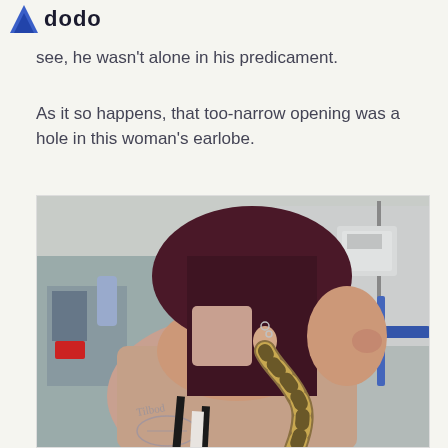dodo
see, he wasn't alone in his predicament.
As it so happens, that too-narrow opening was a hole in this woman's earlobe.
[Figure (photo): A woman with dark purple/maroon hair in a medical/hospital room, photographed from the side, with what appears to be a snake (ball python with golden/brown pattern) hanging from her stretched earlobe piercing. She has visible tattoos on her back and shoulder and is wearing a black top. Medical equipment visible in the background.]